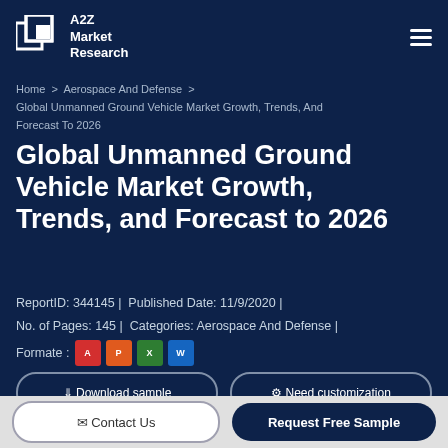A2Z Market Research
Home > Aerospace And Defense > Global Unmanned Ground Vehicle Market Growth, Trends, And Forecast To 2026
Global Unmanned Ground Vehicle Market Growth, Trends, and Forecast to 2026
ReportID: 344145 | Published Date: 11/9/2020 | No. of Pages: 145 | Categories: Aerospace And Defense | Formate :
Download sample  |  Need customization
Contact Us   Request Free Sample